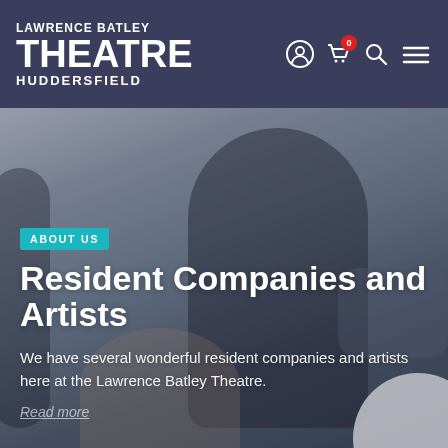LAWRENCE BATLEY THEATRE HUDDERSFIELD
[Figure (photo): Hero banner photo of a person with Down syndrome smiling broadly, arms outstretched, wearing a dark t-shirt, in a dance/theatre studio setting with other people visible around them. Background is blurred grey/blue.]
ABOUT US
Resident Companies and Artists
We have several wonderful resident companies and artists here at the Lawrence Batley Theatre.
Read more